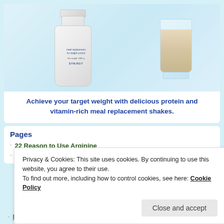[Figure (photo): Product photo showing a white SYNERGY meal replacement powder container (Net weight: 1005g) next to a glass filled with a creamy beige shake, on a light blue background.]
Achieve your target weight with delicious protein and vitamin-rich meal replacement shakes.
Pages
22 Reason to Use Arginine
Privacy & Cookies: This site uses cookies. By continuing to use this website, you agree to their use.
To find out more, including how to control cookies, see here: Cookie Policy
Microbiome, Microbiome, Oh My, Oh Why